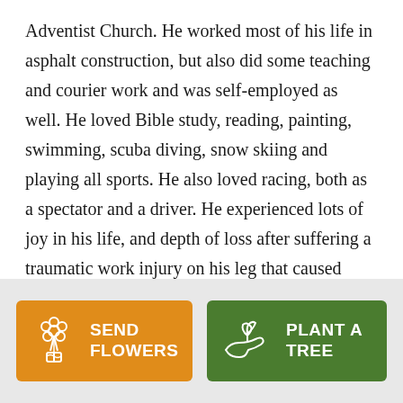Adventist Church. He worked most of his life in asphalt construction, but also did some teaching and courier work and was self-employed as well. He loved Bible study, reading, painting, swimming, scuba diving, snow skiing and playing all sports. He also loved racing, both as a spectator and a driver. He experienced lots of joy in his life, and depth of loss after suffering a traumatic work injury on his leg that caused multiple surgeries and much rehab. Through it all he never lost his smile or sense of humor.
[Figure (infographic): Two call-to-action buttons: 'SEND FLOWERS' on an orange background with a flower bouquet icon, and 'PLANT A TREE' on a green background with a plant/hand icon.]